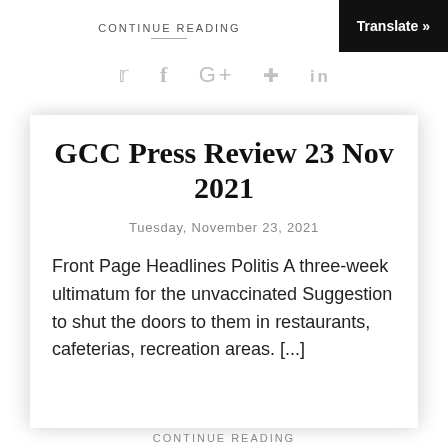CONTINUE READING
Translate »
[Figure (infographic): Social media share icons: Twitter (bird), Facebook (f), Google+ (G+), Pinterest (pin), LinkedIn (in)]
GCC Press Review 23 Nov 2021
Tuesday, November 23, 2021
Front Page Headlines Politis A three-week ultimatum for the unvaccinated Suggestion to shut the doors to them in restaurants, cafeterias, recreation areas. [...]
CONTINUE READING